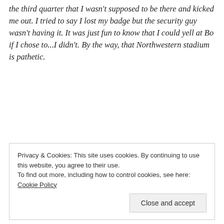the third quarter that I wasn't supposed to be there and kicked me out. I tried to say I lost my badge but the security guy wasn't having it. It was just fun to know that I could yell at Bo if I chose to...I didn't. By the way, that Northwestern stadium is pathetic.
Privacy & Cookies: This site uses cookies. By continuing to use this website, you agree to their use. To find out more, including how to control cookies, see here: Cookie Policy
Close and accept